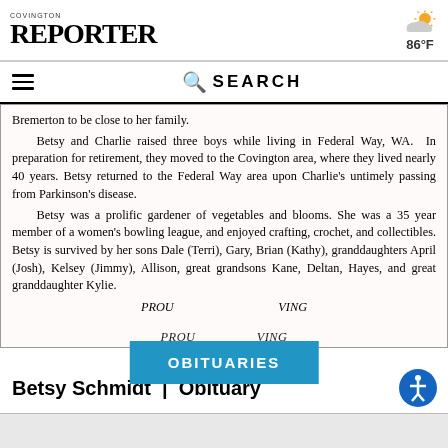COVINGTON REPORTER  86°F
SEARCH
Bremerton to be close to her family.

Betsy and Charlie raised three boys while living in Federal Way, WA. In preparation for retirement, they moved to the Covington area, where they lived nearly 40 years. Betsy returned to the Federal Way area upon Charlie's untimely passing from Parkinson's disease.

Betsy was a prolific gardener of vegetables and blooms. She was a 35 year member of a women's bowling league, and enjoyed crafting, crochet, and collectibles. Betsy is survived by her sons Dale (Terri), Gary, Brian (Kathy), granddaughters April (Josh), Kelsey (Jimmy), Allison, great grandsons Kane, Deltan, Hayes, and great granddaughter Kylie.

PROUD … VING
OBITUARIES
Betsy Schmidt | Obituary